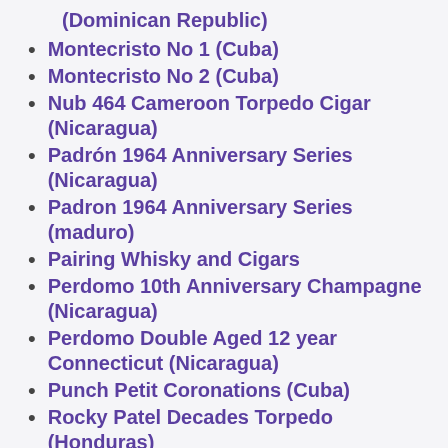(Dominican Republic)
Montecristo No 1 (Cuba)
Montecristo No 2 (Cuba)
Nub 464 Cameroon Torpedo Cigar (Nicaragua)
Padrón 1964 Anniversary Series (Nicaragua)
Padron 1964 Anniversary Series (maduro)
Pairing Whisky and Cigars
Perdomo 10th Anniversary Champagne (Nicaragua)
Perdomo Double Aged 12 year Connecticut (Nicaragua)
Punch Petit Coronations (Cuba)
Rocky Patel Decades Torpedo (Honduras)
Romeo y Julieta Habana Reserve (Nicaragua)
Romeo y Julieta No 1 (Cuba)